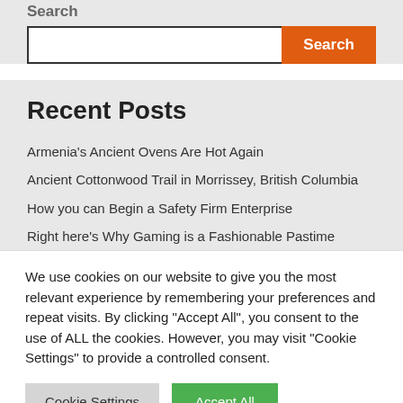Search
Search input and button
Recent Posts
Armenia's Ancient Ovens Are Hot Again
Ancient Cottonwood Trail in Morrissey, British Columbia
How you can Begin a Safety Firm Enterprise
Right here's Why Gaming is a Fashionable Pastime
We use cookies on our website to give you the most relevant experience by remembering your preferences and repeat visits. By clicking "Accept All", you consent to the use of ALL the cookies. However, you may visit "Cookie Settings" to provide a controlled consent.
Cookie Settings | Accept All